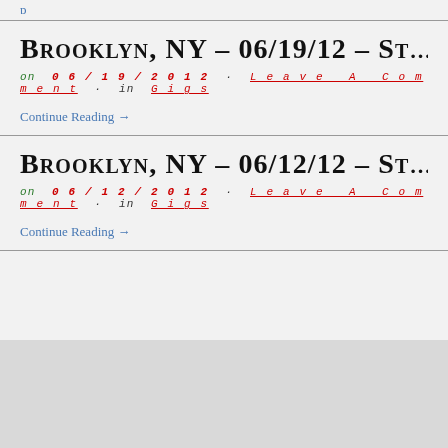p (link, partially visible)
Brooklyn, NY – 06/19/12 – St…
on 06/19/2012 · Leave A Comment · in Gigs
Continue Reading →
Brooklyn, NY – 06/12/12 – St…
on 06/12/2012 · Leave A Comment · in Gigs
Continue Reading →